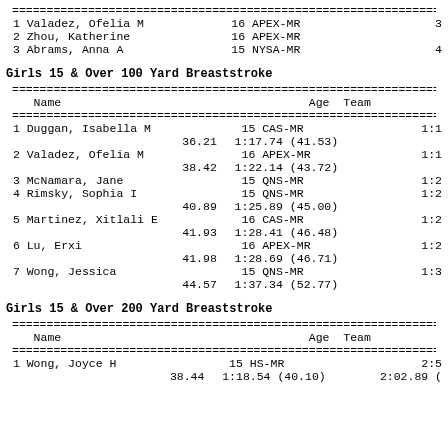| # | Name | Age | Team | Time |
| --- | --- | --- | --- | --- |
| 1 | Valadez, Ofelia M | 16 | APEX-MR | 3:... |
| 2 | Zhou, Katherine | 16 | APEX-MR |  |
| 3 | Abrams, Anna A | 15 | NYSA-MR | 4:... |
Girls 15 & Over 100 Yard Breaststroke
| Name | Age | Team | Finals Time |
| --- | --- | --- | --- |
| 1 Duggan, Isabella M | 15 | CAS-MR | 1:1... |
|  | 36.21 | 1:17.74 (41.53) |  |
| 2 Valadez, Ofelia M | 16 | APEX-MR | 1:1... |
|  | 38.42 | 1:22.14 (43.72) |  |
| 3 McNamara, Jane | 15 | QNS-MR | 1:2... |
| 4 Rimsky, Sophia I | 15 | QNS-MR | 1:2... |
|  | 40.89 | 1:25.89 (45.00) |  |
| 5 Martinez, Xitlali E | 16 | CAS-MR | 1:2... |
|  | 41.93 | 1:28.41 (46.48) |  |
| 6 Lu, Erxi | 16 | APEX-MR | 1:2... |
|  | 41.98 | 1:28.69 (46.71) |  |
| 7 Wong, Jessica | 15 | QNS-MR | 1:3... |
|  | 44.57 | 1:37.34 (52.77) |  |
Girls 15 & Over 200 Yard Breaststroke
| Name | Age | Team | Finals Time |
| --- | --- | --- | --- |
| 1 Wong, Joyce H | 15 | HS-MR | 2:5... |
|  | 38.44 | 1:18.54 (40.10) | 2:02.89 ( |